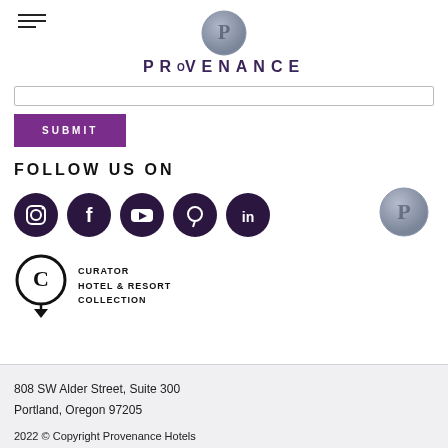[Figure (logo): Provenance Hotels logo with wax seal P emblem and text PROVENANCE in purple]
[Figure (other): Search bar input field]
[Figure (other): Purple SUBMIT button]
FOLLOW US ON
[Figure (other): Social media icons: Instagram, Facebook, YouTube, Pinterest, LinkedIn in dark purple circles, with Provenance wax seal on the right]
[Figure (logo): Curator Hotel & Resort Collection logo]
808 SW Alder Street, Suite 300
Portland, Oregon 97205

2022 © Copyright Provenance Hotels